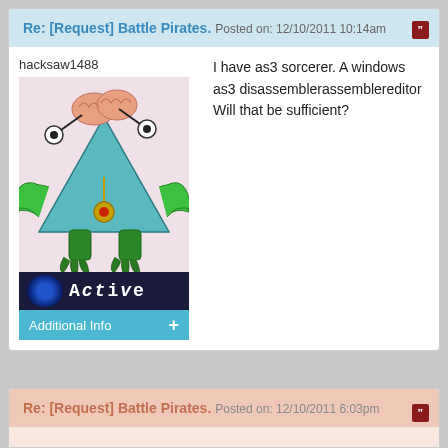Re: [Request] Battle Pirates. Posted on: 12/10/2011 10:14am
hacksaw1488
[Figure (illustration): Cartoon character: a tree-shaped creature with a teal/blue triangular body, green arms and legs with claws, a brain-like head, two eyeball stalks, and a gold/red medallion pendant. Status bar shows 'Active' with blue glow circle. Additional Info bar with + symbol.]
I have as3 sorcerer. A windows as3 disassemblerassemblereditor Will that be sufficient?
Re: [Request] Battle Pirates. Posted on: 12/10/2011 6:03pm